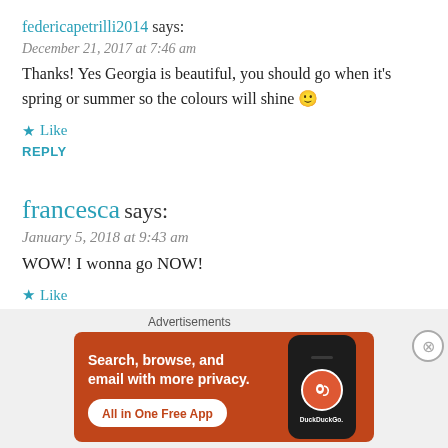federicapetrilli2014 says:
December 21, 2017 at 7:46 am
Thanks! Yes Georgia is beautiful, you should go when it's spring or summer so the colours will shine 🙂
★ Like
REPLY
francesca says:
January 5, 2018 at 9:43 am
WOW! I wonna go NOW!
★ Like
[Figure (other): DuckDuckGo advertisement banner: orange background with text 'Search, browse, and email with more privacy. All in One Free App' and a phone image with DuckDuckGo logo]